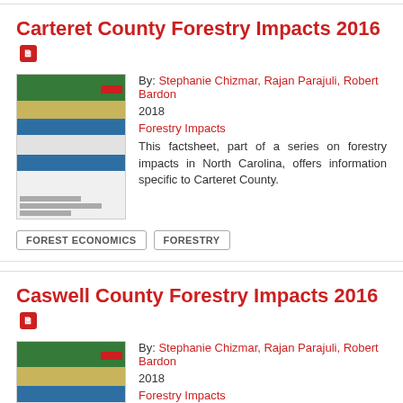Carteret County Forestry Impacts 2016
By: Stephanie Chizmar, Rajan Parajuli, Robert Bardon
2018
Forestry Impacts
[Figure (photo): Thumbnail image of a forestry impacts factsheet document]
This factsheet, part of a series on forestry impacts in North Carolina, offers information specific to Carteret County.
FOREST ECONOMICS
FORESTRY
Caswell County Forestry Impacts 2016
By: Stephanie Chizmar, Rajan Parajuli, Robert Bardon
2018
Forestry Impacts
[Figure (photo): Thumbnail image of a forestry impacts factsheet document]